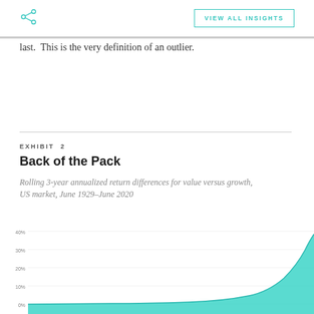VIEW ALL INSIGHTS
last.  This is the very definition of an outlier.
EXHIBIT 2
Back of the Pack
Rolling 3-year annualized return differences for value versus growth, US market, June 1929–June 2020
[Figure (area-chart): Area chart showing rolling 3-year annualized return differences for value versus growth, US market June 1929–June 2020. The area is filled with teal/turquoise color, showing a curve that rises sharply at the far right end near 2020.]